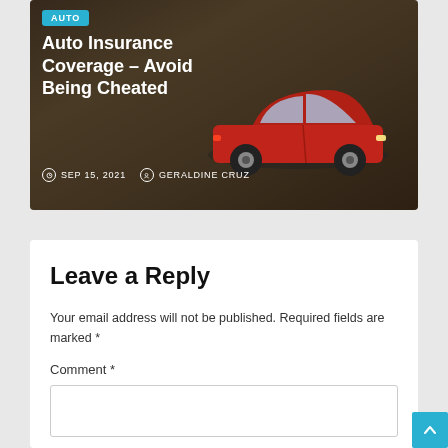[Figure (photo): Hero image of auto insurance article showing a red car and hands signing documents, with dark overlay. Badge reads AUTO, title reads Auto Insurance Coverage – Avoid Being Cheated, dated SEP 15, 2021, author GERALDINE CRUZ.]
Auto Insurance Coverage – Avoid Being Cheated
SEP 15, 2021   GERALDINE CRUZ
Leave a Reply
Your email address will not be published. Required fields are marked *
Comment *